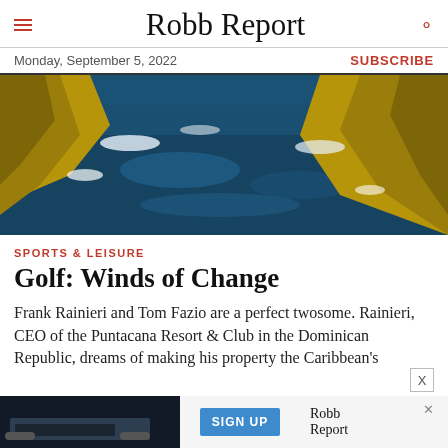Robb Report
Monday, September 5, 2022
SUBSCRIBE
[Figure (photo): Aerial view of rocky coastline with deep blue ocean water and waves crashing against golden-brown cliffs]
SPORTS & LEISURE
Golf: Winds of Change
Frank Rainieri and Tom Fazio are a perfect twosome. Rainieri, CEO of the Puntacana Resort & Club in the Dominican Republic, dreams of making his property the Caribbean's
[Figure (other): Advertisement banner: Robb Report Sign Up ad with dark background, blue SIGN UP button, and Robb Report logo]